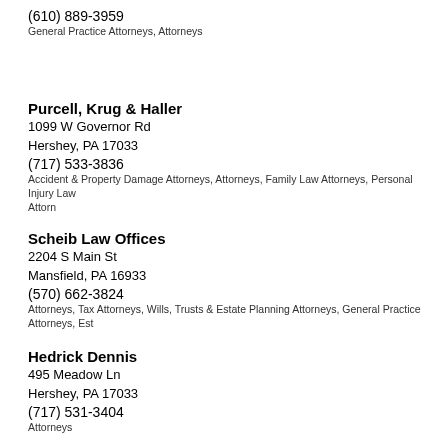(610) 889-3959
General Practice Attorneys, Attorneys
Purcell, Krug & Haller
1099 W Governor Rd
Hershey, PA 17033
(717) 533-3836
Accident & Property Damage Attorneys, Attorneys, Family Law Attorneys, Personal Injury Law Attorn
Scheib Law Offices
2204 S Main St
Mansfield, PA 16933
(570) 662-3824
Attorneys, Tax Attorneys, Wills, Trusts & Estate Planning Attorneys, General Practice Attorneys, Est
Hedrick Dennis
495 Meadow Ln
Hershey, PA 17033
(717) 531-3404
Attorneys